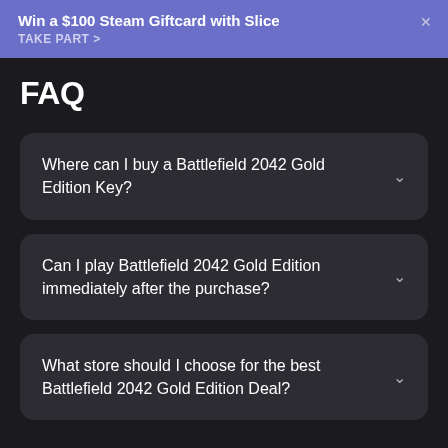Win a $100 Steam Giftcard with Slice
TAKE PART >
FAQ
Where can I buy a Battlefield 2042 Gold Edition Key?
Can I play Battlefield 2042 Gold Edition immediately after the purchase?
What store should I choose for the best Battlefield 2042 Gold Edition Deal?